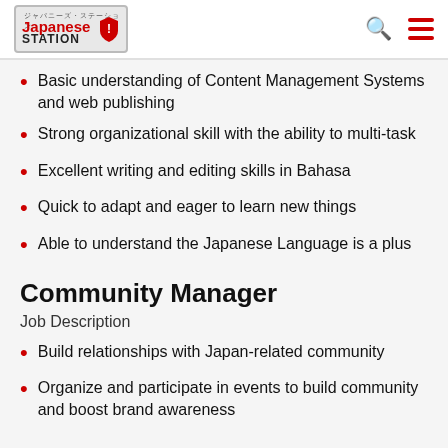Japanese Station - logo with search and menu icons
Basic understanding of Content Management Systems and web publishing
Strong organizational skill with the ability to multi-task
Excellent writing and editing skills in Bahasa
Quick to adapt and eager to learn new things
Able to understand the Japanese Language is a plus
Community Manager
Job Description
Build relationships with Japan-related community
Organize and participate in events to build community and boost brand awareness